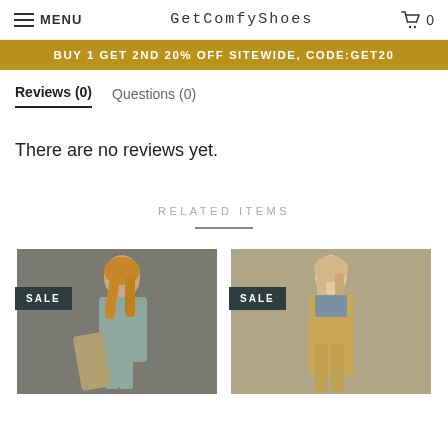MENU | GetComfyShoes | 0
BUY 1 GET 2ND 20% OFF SITEWIDE, CODE:GET20
Reviews (0)   Questions (0)
There are no reviews yet.
RELATED ITEMS
[Figure (photo): Woman in gray short dress with patterned bag outdoors, SALE badge]
[Figure (photo): Woman in tan linen pinafore dress, SALE badge]